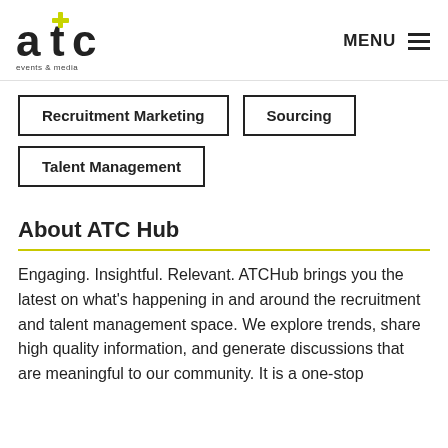ATC events & media | MENU
Recruitment Marketing
Sourcing
Talent Management
About ATC Hub
Engaging. Insightful. Relevant. ATCHub brings you the latest on what's happening in and around the recruitment and talent management space. We explore trends, share high quality information, and generate discussions that are meaningful to our community. It is a one-stop